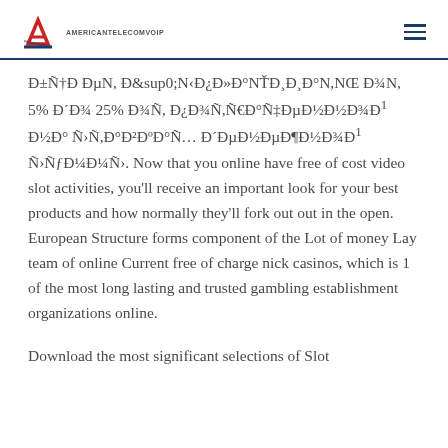AMERICANTELECOMVOIP
Đ±Ñ†Đ ĐµN, Đ¨N‹Đ¿Đ»Đ°NŤĐ¸Đ¸Đ°N,NŒ Đ¾N, 5% Đ´Đ¾ 25% Đ¾Ñ, Đ¿Đ¾Ñ,Ñ€Đ°Ñ‡ĐµĐ½Đ½Đ¾Đ¹ Đ½Đ° Ñ‌Ñ,Đ°Đ²ĐşĐ°Ñ… Đ´ĐµĐ½ĐµĐ¶Đ½Đ¾Đ¹ Ñ‌ÑƒĐ¼Đ¼Ñ‹. Now that you online have free of cost video slot activities, you'll receive an important look for your best products and how normally they'll fork out out in the open. European Structure forms component of the Lot of money Lay team of online Current free of charge nick casinos, which is 1 of the most long lasting and trusted gambling establishment organizations online.
Download the most significant selections of Slot